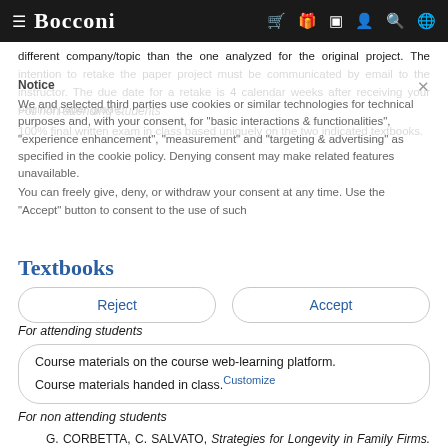≡ Bocconi [icons: cart, gift, book, person, search, globe]
different company/topic than the one analyzed for the original project. The intention to retake the paper project must be communicated by email to the instructor. The due date for a retake is 4 calendar weeks after receiving your original paper grade.
For non attending students
100% final written exam in class based uniquely on the two indicated textbooks.
Textbooks
For attending students
Course materials on the course web-learning platform.
Course materials handed in class.
For non attending students
G. CORBETTA, C. SALVATO, Strategies for Longevity in Family Firms. A European Perspective, Palgrave Macmillan, 2012.